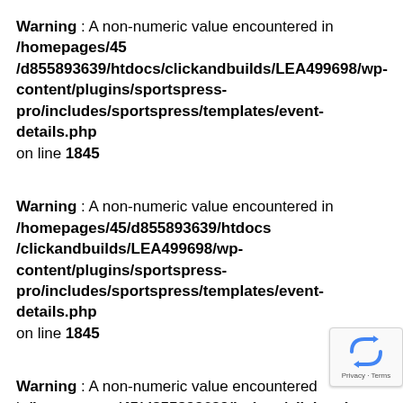Warning : A non-numeric value encountered in /homepages/45/d855893639/htdocs/clickandbuilds/LEA499698/wp-content/plugins/sportspress-pro/includes/sportspress/templates/event-details.php on line 1845
Warning : A non-numeric value encountered in /homepages/45/d855893639/htdocs/clickandbuilds/LEA499698/wp-content/plugins/sportspress-pro/includes/sportspress/templates/event-details.php on line 1845
Warning : A non-numeric value encountered in/homepages/45/d855893639/htdocs/clickandbuilds/LEA499698/wp-content/plugins/sportspress-pro/includes/sportspress/templates/event-details.php